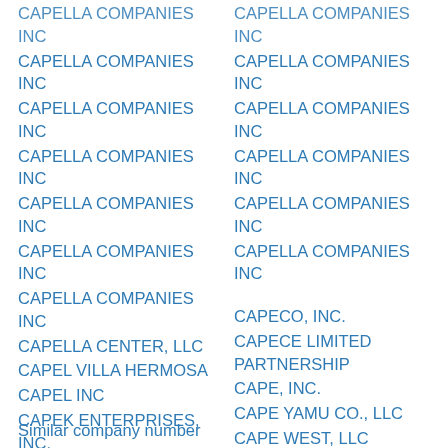CAPELLA COMPANIES INC
CAPELLA COMPANIES INC
CAPELLA COMPANIES INC
CAPELLA COMPANIES INC
CAPELLA COMPANIES INC
CAPELLA COMPANIES INC
CAPELLA CENTER, LLC
CAPEL VILLA HERMOSA
CAPEL INC
CAPEK ENTERPRISES, INC.
CAPED CRUSADER, LLC
CAPECORALDXB, LLC
CAPECODALLINONE INC
CAPECOD COTTAGES, INC.
CAPELLA COMPANIES INC
CAPELLA COMPANIES INC
CAPELLA COMPANIES INC
CAPELLA COMPANIES INC
CAPELLA COMPANIES INC
CAPECO, INC.
CAPECE LIMITED PARTNERSHIP
CAPE, INC.
CAPE YAMU CO., LLC
CAPE WEST, LLC
CAPE WEST, INC.
CAPE WEST SECURITIES INC.
Similar company number